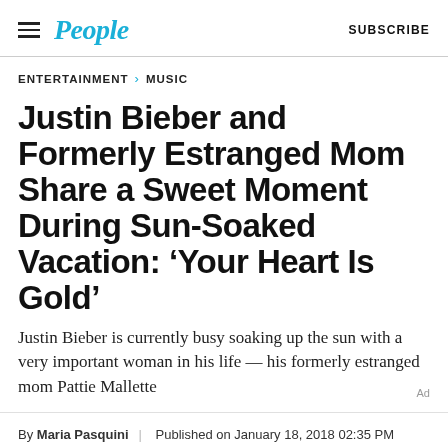People | SUBSCRIBE
ENTERTAINMENT > MUSIC
Justin Bieber and Formerly Estranged Mom Share a Sweet Moment During Sun-Soaked Vacation: ‘Your Heart Is Gold’
Justin Bieber is currently busy soaking up the sun with a very important woman in his life — his formerly estranged mom Pattie Mallette
By Maria Pasquini | Published on January 18, 2018 02:35 PM